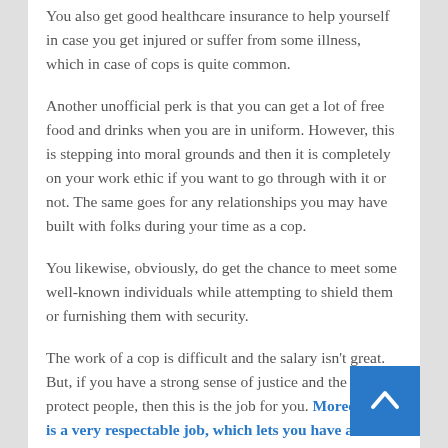You also get good healthcare insurance to help yourself in case you get injured or suffer from some illness, which in case of cops is quite common.
Another unofficial perk is that you can get a lot of free food and drinks when you are in uniform. However, this is stepping into moral grounds and then it is completely on your work ethic if you want to go through with it or not. The same goes for any relationships you may have built with folks during your time as a cop.
You likewise, obviously, do get the chance to meet some well-known individuals while attempting to shield them or furnishing them with security.
The work of a cop is difficult and the salary isn't great. But, if you have a strong sense of justice and the urge to protect people, then this is the job for you. Moreover, it is a very respectable job, which lets you have a secure retirement and gives you healthcare benefits. What more might a person be able to request in the wake of sparing the day and being announced a hero according to a few?